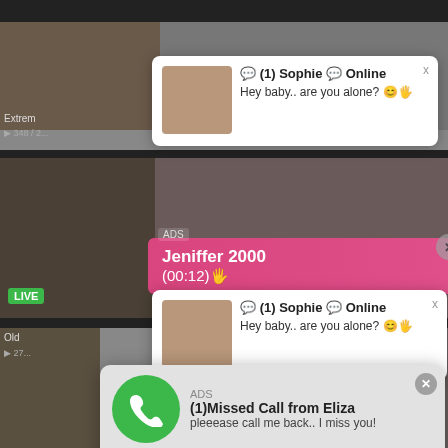[Figure (screenshot): Background showing adult video website thumbnails with two Sophie chat popups, a Jeniffer 2000 pink call bar, and a missed call notification from Eliza with audio player controls]
💬 (1) Sophie 💬 Online
Hey baby.. are you alone? 😊🖐
💬 (1) Sophie 💬 Online
Hey baby.. are you alone? 😊🖐
ADS
Jeniffer 2000
(00:12)🖐
ADS
(1)Missed Call from Eliza
pleeease call me back.. I miss you!
0:00  3:23